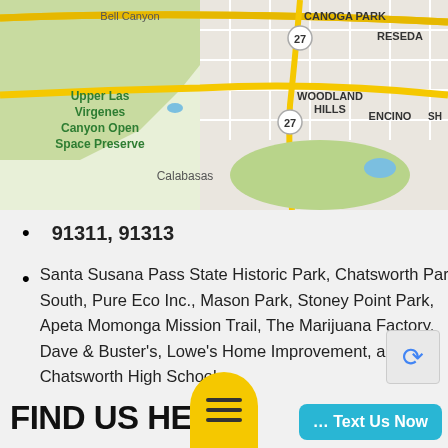[Figure (map): Google Maps screenshot showing Canoga Park, Reseda, Woodland Hills, Encino, Bell Canyon, Upper Las Virgenes Canyon Open Space Preserve, Calabasas area in Los Angeles, CA. Route 27 is visible.]
91311, 91313
Santa Susana Pass State Historic Park, Chatsworth Park South, Pure Eco Inc., Mason Park, Stoney Point Park, Apeta Momonga Mission Trail, The Marijuana Factory, Dave & Buster's, Lowe's Home Improvement, and Chatsworth High School
FIND US HERE